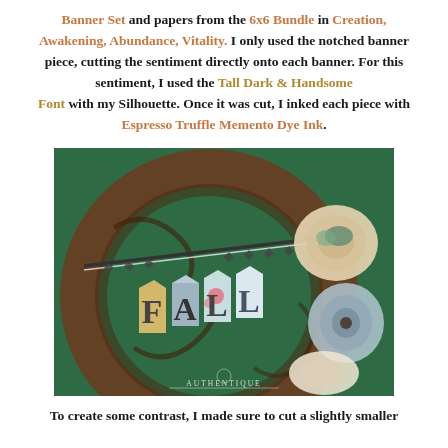Banner Set and papers from the 6x6 Bundle in Creation, Awakening, Abundance, Vitality. I only used the notched banner piece, cutting the sentiment directly onto each banner. For this sentiment, I used the Tall Dark & Handsome Font with my Silhouette. Once it was cut, I inked each piece with Espresso Truffle Memento Dye Ink.
[Figure (photo): Photo of a grapevine wreath on a dark green door with a FALL letter banner spelling out FALL hanging across it. The letters are on decorative patterned paper banners. Fabric flowers (cream and blue) are on the right side. An Authentique logo watermark is visible in the lower left.]
To create some contrast, I made sure to cut a slightly smaller